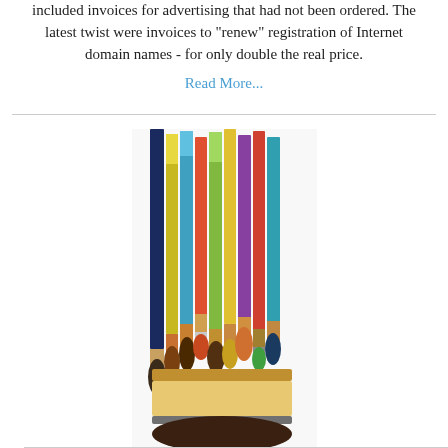included invoices for advertising that had not been ordered. The latest twist were invoices to "renew" registration of Internet domain names - for only double the real price.
Read More...
[Figure (photo): A group of colorful paint brushes with painted handles arranged side by side]
Door-to-door art sales
Consumer Protection is warning WA householders about door to door art sellers after three salespeople were intercepted last week by Pinjarra Police.
Read More...